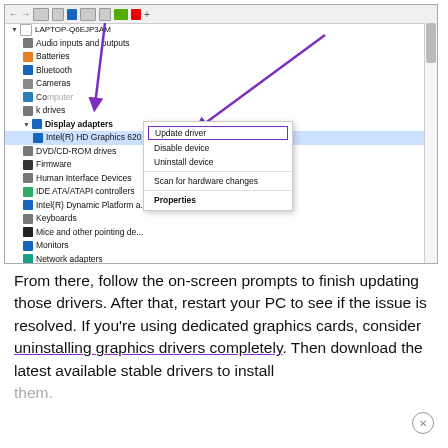[Figure (screenshot): Windows Device Manager screenshot showing a tree of devices with 'Intel(R) HD Graphics 620' selected under 'Display adapters', and a right-click context menu open with 'Update driver' highlighted at top, followed by 'Disable device', 'Uninstall device', 'Scan for hardware changes', and 'Properties'. A purple arrow points to 'Update driver'. A purple arrow also points down from the toolbar to 'Display adapters'.]
From there, follow the on-screen prompts to finish updating those drivers. After that, restart your PC to see if the issue is resolved. If you’re using dedicated graphics cards, consider uninstalling graphics drivers completely. Then download the latest available stable drivers to install them.